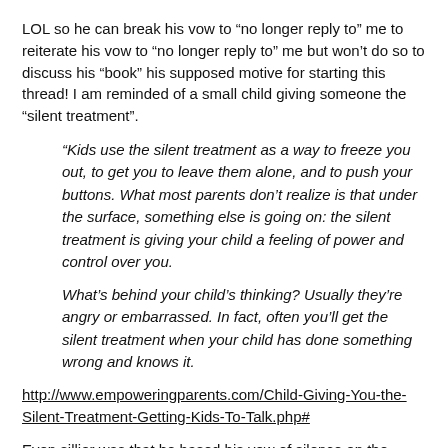LOL so he can break his vow to “no longer reply to” me to reiterate his vow to “no longer reply to” me but won’t do so to discuss his “book” his supposed motive for starting this thread! I am reminded of a small child giving someone the “silent treatment”.
“Kids use the silent treatment as a way to freeze you out, to get you to leave them alone, and to push your buttons. What most parents don’t realize is that under the surface, something else is going on: the silent treatment is giving your child a feeling of power and control over you.

What’s behind your child’s thinking? Usually they’re angry or embarrassed. In fact, often you’ll get the silent treatment when your child has done something wrong and knows it.
http://www.empoweringparents.com/Child-Giving-You-the-Silent-Treatment-Getting-Kids-To-Talk.php#
Even sillier was that he based his vow of silence on the premise I was “prejudging [his] book” which I indicated I had not read yet. However my lengthy review shows that I read it and I showed that many of his claims and conclusions were in variance with the